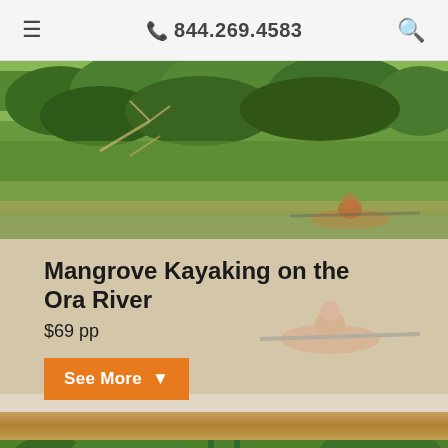☎ 844.269.4583
[Figure (photo): Aerial view of mangrove forest with dense green trees]
Mangrove Kayaking on the Ora River
$69 pp
See More
[Figure (photo): Forest with metal tower/zipline structure and people in jungle setting]